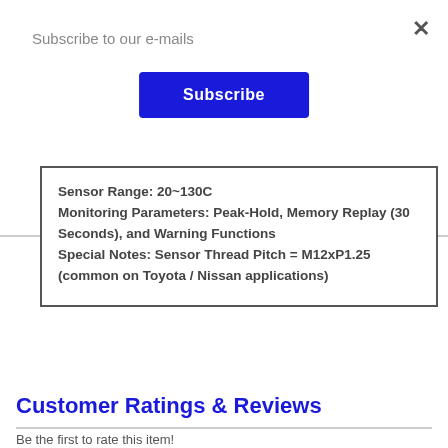Subscribe to our e-mails
Subscribe
Sensor Range: 20~130C Monitoring Parameters: Peak-Hold, Memory Replay (30 Seconds), and Warning Functions Special Notes: Sensor Thread Pitch = M12xP1.25 (common on Toyota / Nissan applications)
Inventory Updated Daily
Customer Ratings & Reviews
Be the first to rate this item!